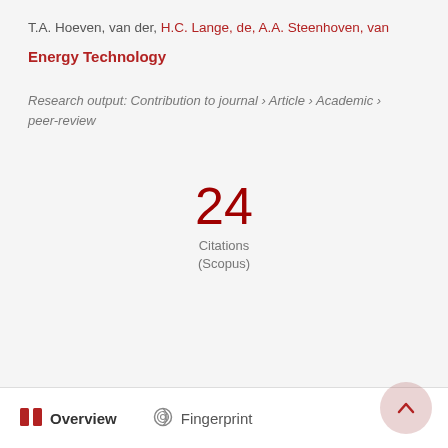T.A. Hoeven, van der, H.C. Lange, de, A.A. Steenhoven, van
Energy Technology
Research output: Contribution to journal › Article › Academic › peer-review
24 Citations (Scopus)
Overview   Fingerprint